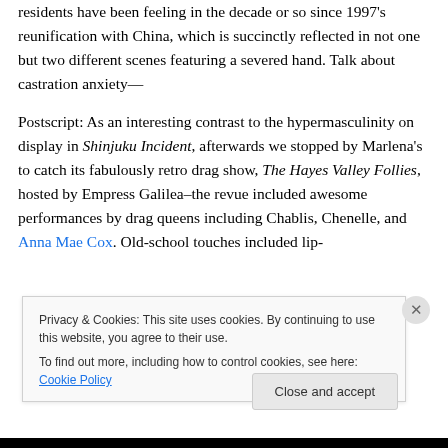residents have been feeling in the decade or so since 1997's reunification with China, which is succinctly reflected in not one but two different scenes featuring a severed hand. Talk about castration anxiety—
Postscript: As an interesting contrast to the hypermasculinity on display in Shinjuku Incident, afterwards we stopped by Marlena's to catch its fabulously retro drag show, The Hayes Valley Follies, hosted by Empress Galilea–the revue included awesome performances by drag queens including Chablis, Chenelle, and Anna Mae Cox. Old-school touches included lip-
Privacy & Cookies: This site uses cookies. By continuing to use this website, you agree to their use.
To find out more, including how to control cookies, see here: Cookie Policy
Close and accept